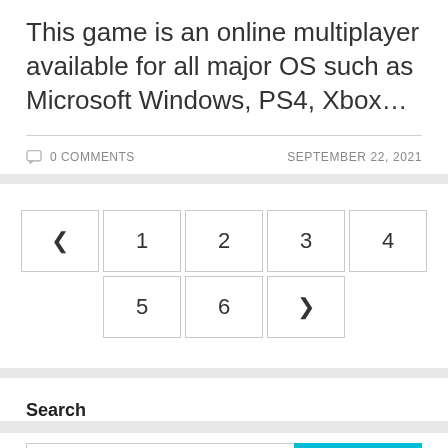This game is an online multiplayer available for all major OS such as Microsoft Windows, PS4, Xbox…
0 COMMENTS   SEPTEMBER 22, 2021
‹ 1 2 3 4 5 6 ›
Search
Search input field with SEARCH button